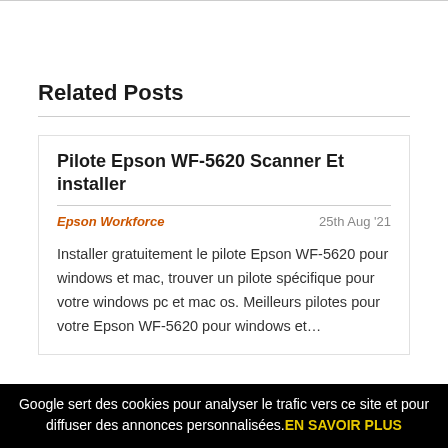Related Posts
Pilote Epson WF-5620 Scanner Et installer
Epson Workforce   25th Aug '21
Installer gratuitement le pilote Epson WF-5620 pour windows et mac, trouver un pilote spécifique pour votre windows pc et mac os. Meilleurs pilotes pour votre Epson WF-5620 pour windows et…
Google sert des cookies pour analyser le trafic vers ce site et pour diffuser des annonces personnalisées. EN SAVOIR PLUS